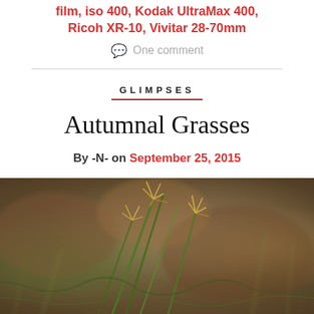film, iso 400, Kodak UltraMax 400, Ricoh XR-10, Vivitar 28-70mm
One comment
GLIMPSES
Autumnal Grasses
By -N- on September 25, 2015
[Figure (photo): Close-up photograph of autumnal grasses with golden seed heads and green stems against a blurred brownish-red background]